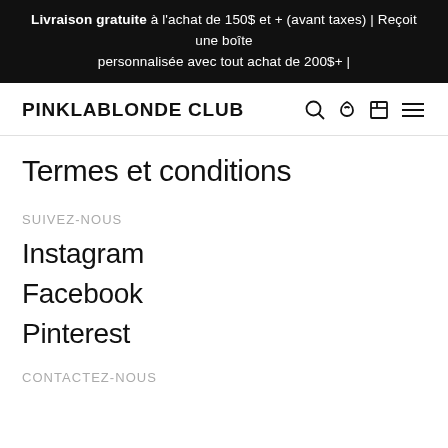Livraison gratuite à l'achat de 150$ et + (avant taxes) | Reçoit une boîte personnalisée avec tout achat de 200$+ |
PINKLABLONDE CLUB
Termes et conditions
Suivez-Nous
Instagram
Facebook
Pinterest
Contactez-Nous